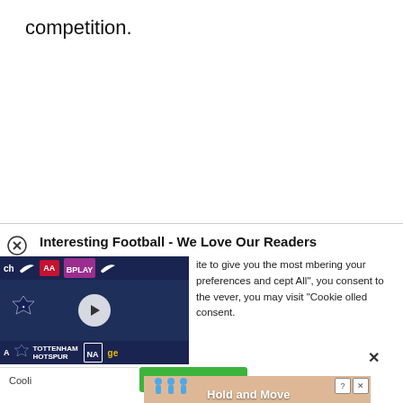competition.
[Figure (screenshot): Video thumbnail showing a press conference with Tottenham Hotspur branding, Nike logos, and BPLAY sponsor. A person is visible at a desk. Sponsor logos visible in background including ch, Nike, AA, BPLAY, NA, ge.]
Interesting Football - We Love Our Readers
ite to give you the most mbering your preferences and cept All", you consent to the vever, you may visit "Cookie olled consent.
[Figure (screenshot): Ad banner at bottom showing Hold and Move game with animated figures on a sandy/wooden background. Has close (X) and info (?) buttons.]